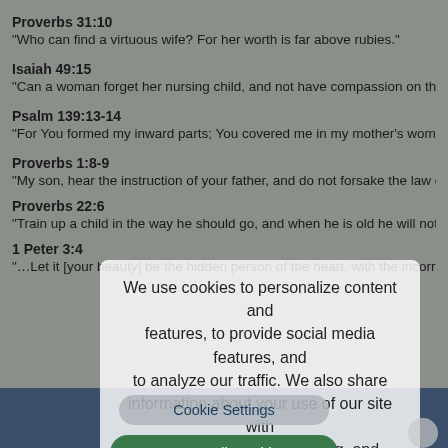Proverbs 31:10
“Who can find a virtuous wife? For her worth is far above rubies.”
Isaiah 49:15
“Can a woman forget her nursing child, and not have compassion on the son of he…
Psalm 139:13-14
“For You formed my inward parts; You covered me in my mother’s womb. I will prai…
Proverbs 1:8-9
“My son, hear the instruction of your father, and do not forsake the law of your moth…
Proverbs 22:6
“Train up a child in the way he should go, and when he is old he will not depart from…
1 Peter 3:4
“…Let it [your beauty] be the hidden person of the heart, with the incorruptible beau…
We use cookies to personalize content and features, to provide social media features, and to analyze our traffic. We also share information about your use of our site with our social media, advertising, and analytics partners.
Cookie Settings
Accept All Cookies